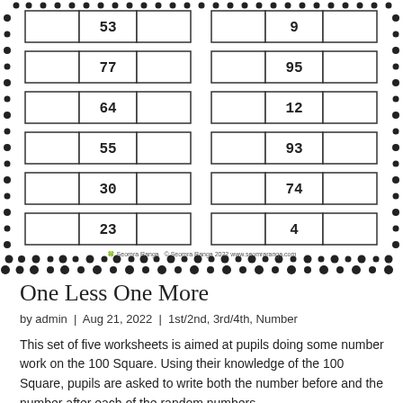[Figure (other): Worksheet with two columns of number boxes. Each row has three boxes (empty, number, empty). Left column numbers: 53, 77, 64, 55, 30, 23. Right column numbers: 9, 95, 12, 93, 74, 4. Surrounded by a dot border.]
© Seomra Ranga  © Seomra Ranga 2022 www.seomraranga.com
One Less One More
by admin | Aug 21, 2022 | 1st/2nd, 3rd/4th, Number
This set of five worksheets is aimed at pupils doing some number work on the 100 Square. Using their knowledge of the 100 Square, pupils are asked to write both the number before and the number after each of the random numbers